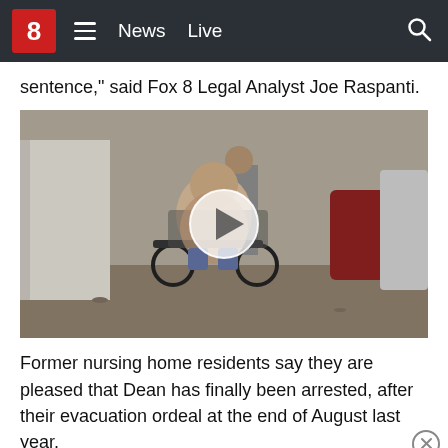8  News  Live
sentence," said Fox 8 Legal Analyst Joe Raspanti.
[Figure (screenshot): Video thumbnail showing a person in a wheelchair being pushed by another person outdoors, with vehicles in the background. A white circular play button overlay is centered on the image.]
Former nursing home residents say they are pleased that Dean has finally been arrested, after their evacuation ordeal at the end of August last year.
A total of seven nursing home residents died, with at least